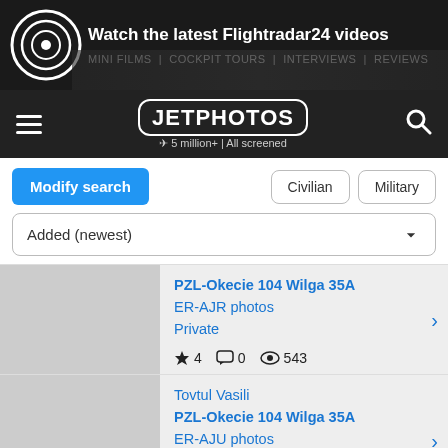[Figure (screenshot): Flightradar24 advertisement banner with circular radar logo and text 'Watch the latest Flightradar24 videos' with subtitle links]
[Figure (logo): JetPhotos navigation bar with hamburger menu, JETPHOTOS logo (5 million+ | All screened), and search icon]
Modify search
Civilian
Military
Added (newest)
PZL-Okecie 104 Wilga 35A
ER-AJR photos
Private
★ 4  💬 0  👁 543
Tovtul Vasili
PZL-Okecie 104 Wilga 35A
ER-AJU photos
Private
★ 3  💬 3  👁 764